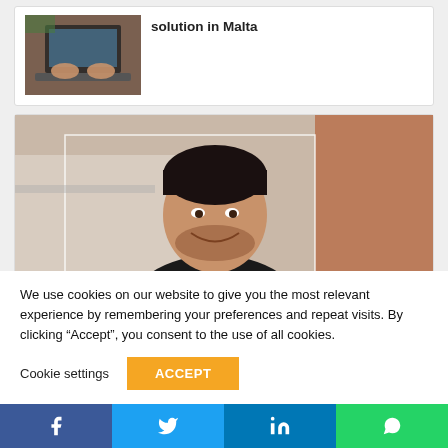solution in Malta
[Figure (photo): Person working on a laptop, viewed from above]
[Figure (photo): Smiling man leaning forward, brick wall background]
We use cookies on our website to give you the most relevant experience by remembering your preferences and repeat visits. By clicking “Accept”, you consent to the use of all cookies.
Cookie settings
ACCEPT
Facebook | Twitter | LinkedIn | WhatsApp